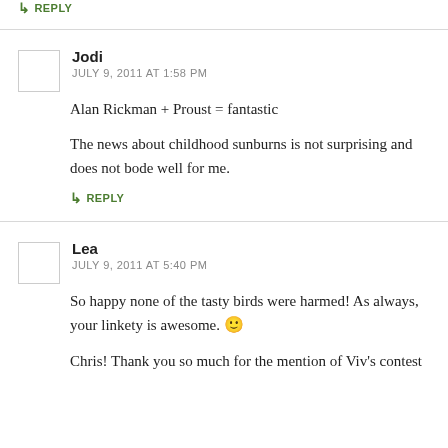↳ REPLY
Jodi
JULY 9, 2011 AT 1:58 PM
Alan Rickman + Proust = fantastic

The news about childhood sunburns is not surprising and does not bode well for me.

↳ REPLY
Lea
JULY 9, 2011 AT 5:40 PM
So happy none of the tasty birds were harmed! As always, your linkety is awesome. 🙂

Chris! Thank you so much for the mention of Viv's contest